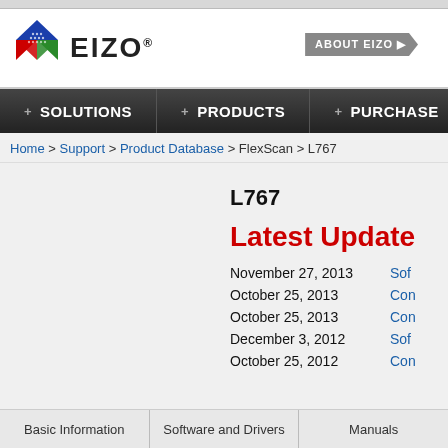[Figure (logo): EIZO logo with colorful diamond/rhombus icon and EIZO text with registered trademark symbol]
ABOUT EIZO
+ SOLUTIONS   + PRODUCTS   + PURCHASE
Home > Support > Product Database > FlexScan > L767
L767
Latest Update
November 27, 2013  Sof
October 25, 2013  Con
October 25, 2013  Con
December 3, 2012  Sof
October 25, 2012  Con
Basic Information   Software and Drivers   Manuals